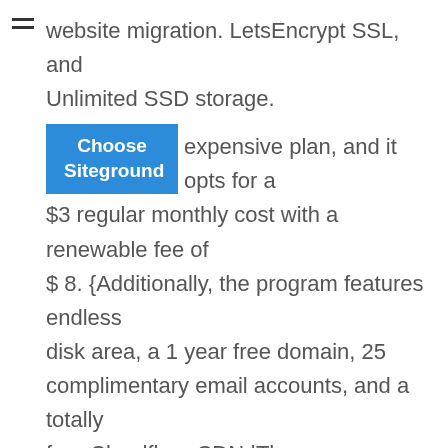website migration. LetsEncrypt SSL, and Unlimited SSD storage.
[Figure (other): Blue button labeled 'Choose Siteground']
expensive plan, and it opts for a $3 regular monthly cost with a renewable fee of $ 8. {Additionally, the program features endless disk area, a 1 year free domain, 25 complimentary email accounts, and a totally free Cloudflare CDN.|The program comes with unrestricted disk area, a 1 year totally free domain name, 25 complimentary e-mail accounts, and a free Cloudflare CDN.